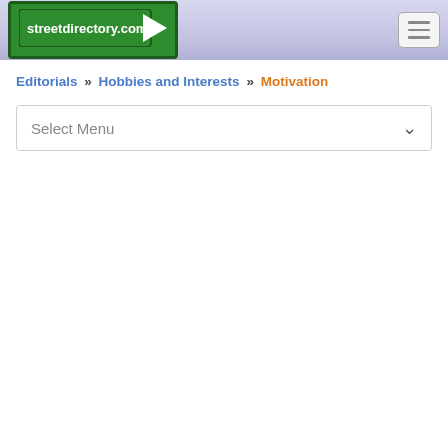streetdirectory.com
Editorials » Hobbies and Interests » Motivation
Select Menu